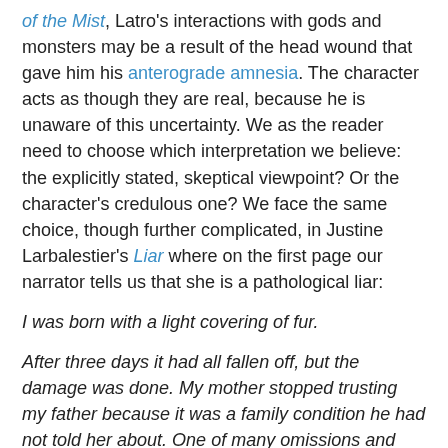of the Mist, Latro's interactions with gods and monsters may be a result of the head wound that gave him his anterograde amnesia. The character acts as though they are real, because he is unaware of this uncertainty. We as the reader need to choose which interpretation we believe: the explicitly stated, skeptical viewpoint? Or the character's credulous one? We face the same choice, though further complicated, in Justine Larbalestier's Liar where on the first page our narrator tells us that she is a pathological liar:
I was born with a light covering of fur.
After three days it had all fallen off, but the damage was done. My mother stopped trusting my father because it was a family condition he had not told her about. One of many omissions and lies.